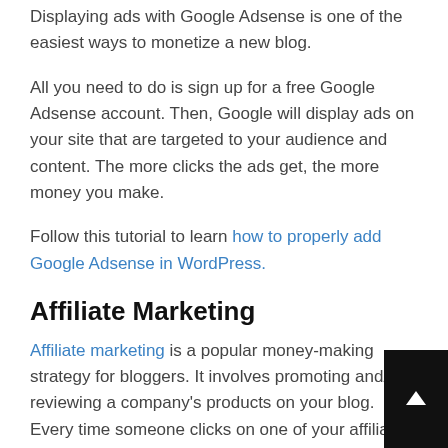Displaying ads with Google Adsense is one of the easiest ways to monetize a new blog.
All you need to do is sign up for a free Google Adsense account. Then, Google will display ads on your site that are targeted to your audience and content. The more clicks the ads get, the more money you make.
Follow this tutorial to learn how to properly add Google Adsense in WordPress.
Affiliate Marketing
Affiliate marketing is a popular money-making strategy for bloggers. It involves promoting and/or reviewing a company's products on your blog. Every time someone clicks on one of your affiliate links and buys the product, you earn a commission.